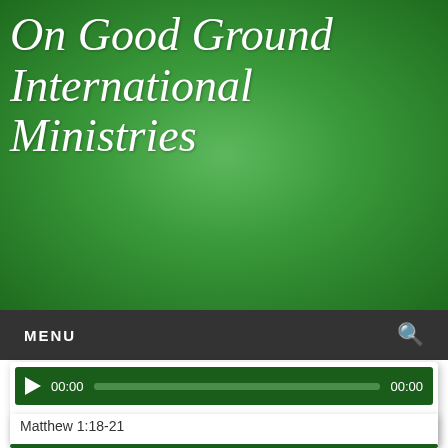On Good Ground International Ministries
MENU
[Figure (screenshot): Audio player bar showing play button, 00:00 timestamp, progress bar, and 00:00 end time]
Saved From Our Sins
Matthew 1:18-21
- What we do affects other people.
- When we are in the midst of a thing, God appears and speaks right unto the heart of the matter....